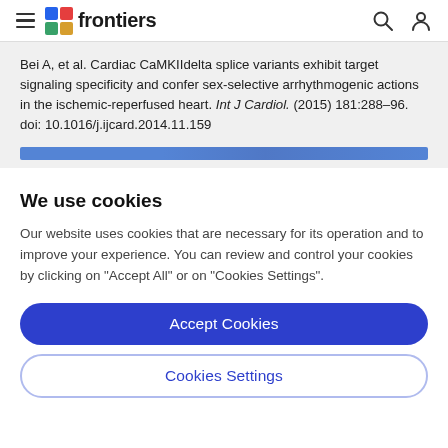frontiers
Bei A, et al. Cardiac CaMKIIdelta splice variants exhibit target signaling specificity and confer sex-selective arrhythmogenic actions in the ischemic-reperfused heart. Int J Cardiol. (2015) 181:288–96. doi: 10.1016/j.ijcard.2014.11.159
We use cookies
Our website uses cookies that are necessary for its operation and to improve your experience. You can review and control your cookies by clicking on "Accept All" or on "Cookies Settings".
Accept Cookies
Cookies Settings